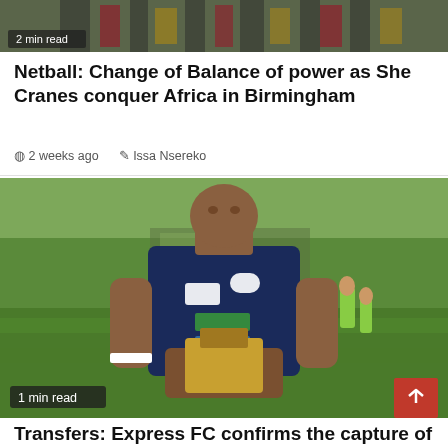[Figure (photo): Top of page showing partial image with Uganda national team colors (red, black, yellow stripes) in the background. A '2 min read' badge is visible.]
Netball: Change of Balance of power as She Cranes conquer Africa in Birmingham
2 weeks ago  Issa Nsereko
[Figure (photo): A football player wearing a dark navy blue jersey with sponsor logos holding a trophy/award, standing on a green football pitch. Other players visible in background. '1 min read' badge at bottom left. Red scroll-to-top button at bottom right.]
Transfers: Express FC confirms the capture of